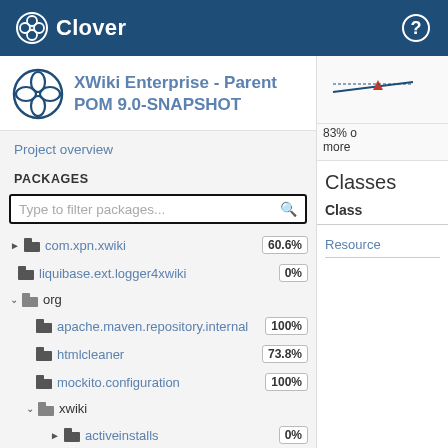Clover
XWiki Enterprise - Parent POM 9.0-SNAPSHOT
Project overview
PACKAGES
Type to filter packages...
com.xpn.xwiki  60.6%
liquibase.ext.logger4xwiki  0%
org
apache.maven.repository.internal  100%
htmlcleaner  73.8%
mockito.configuration  100%
xwiki
activeinstalls  0%
activitystream  34.8%
Classes
Class
Resource
83% o
more